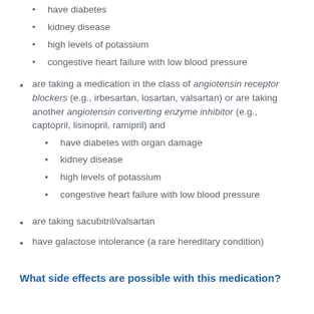have diabetes
kidney disease
high levels of potassium
congestive heart failure with low blood pressure
are taking a medication in the class of angiotensin receptor blockers (e.g., irbesartan, losartan, valsartan) or are taking another angiotensin converting enzyme inhibitor (e.g., captopril, lisinopril, ramipril) and
have diabetes with organ damage
kidney disease
high levels of potassium
congestive heart failure with low blood pressure
are taking sacubitril/valsartan
have galactose intolerance (a rare hereditary condition)
What side effects are possible with this medication?